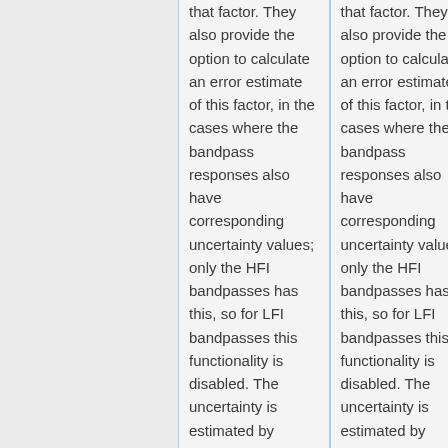that factor. They also provide the option to calculate an error estimate of this factor, in the cases where the bandpass responses also have corresponding uncertainty values; only the HFI bandpasses has this, so for LFI bandpasses this functionality is disabled. The uncertainty is estimated by generating Monte Carlo samples
that factor. They also provide the option to calculate an error estimate of this factor, in the cases where the bandpass responses also have corresponding uncertainty values; only the HFI bandpasses has this, so for LFI bandpasses this functionality is disabled. The uncertainty is estimated by generating Monte Carlo samples